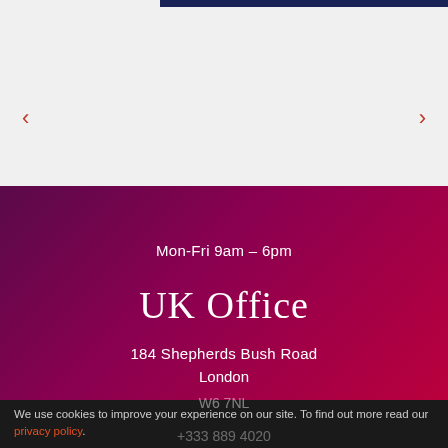[Figure (screenshot): Top section with light grey background, dark navy bar at top right, and red left/right navigation arrows on the sides]
Mon-Fri 9am – 6pm
UK Office
184 Shepherds Bush Road
London
W6 7NL
We use cookies to improve your experience on our site. To find out more read our privacy policy.
+333 889 4020